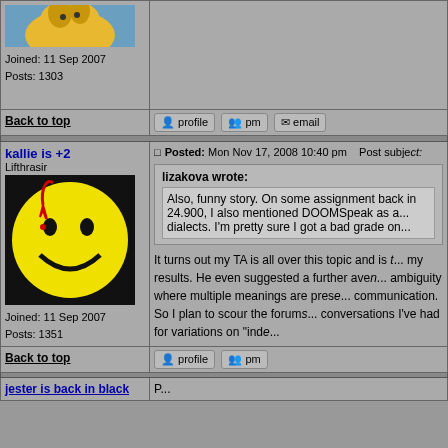Joined: 11 Sep 2007
Posts: 1303
Back to top
profile  pm  email
kallie is +2
Lifthrasir
[Figure (illustration): Yellow smiley face with blood drip on black background]
Joined: 11 Sep 2007
Posts: 1351
Posted: Mon Nov 17, 2008 10:40 pm   Post subject:
lizakova wrote:
Also, funny story. On some assignment back in 24.900, I also mentioned DOOMSpeak as a... dialects. I'm pretty sure I got a bad grade on...
It turns out my TA is all over this topic and is [excited about] my results. He even suggested a further avenue... ambiguity where multiple meanings are present... communication. So I plan to scour the forums... conversations I've had for variations on "inde...
Back to top
profile  pm
jester is back in black